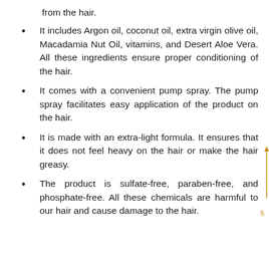from the hair.
It includes Argon oil, coconut oil, extra virgin olive oil, Macadamia Nut Oil, vitamins, and Desert Aloe Vera. All these ingredients ensure proper conditioning of the hair.
It comes with a convenient pump spray. The pump spray facilitates easy application of the product on the hair.
It is made with an extra-light formula. It ensures that it does not feel heavy on the hair or make the hair greasy.
The product is sulfate-free, paraben-free, and phosphate-free. All these chemicals are harmful to our hair and cause damage to the hair.